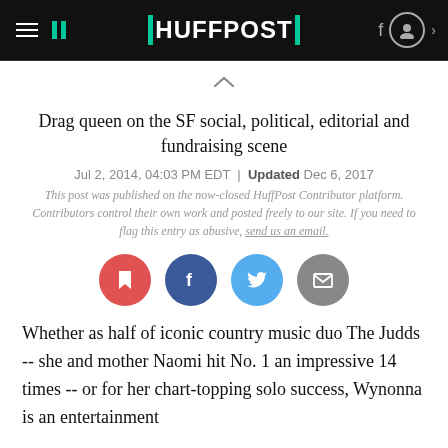HUFFPOST
Drag queen on the SF social, political, editorial and fundraising scene
Jul 2, 2014, 04:03 PM EDT | Updated Dec 6, 2017
This post was published on the now-closed HuffPost Contributor platform. Contributors control their own work and posted freely to our site. If you need to flag this entry as abusive, send us an email.
[Figure (infographic): Social sharing icons: bookmark (red), Facebook (dark blue), Twitter (light blue), email (gray)]
Whether as half of iconic country music duo The Judds -- she and mother Naomi hit No. 1 an impressive 14 times -- or for her chart-topping solo success, Wynonna is an entertainment